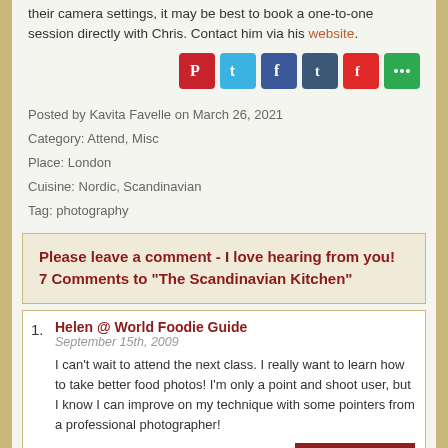their camera settings, it may be best to book a one-to-one session directly with Chris. Contact him via his website.
[Figure (infographic): Social sharing icons: Pinterest (red), Twitter (blue), Facebook (dark blue), Tumblr (dark blue-grey), Flipboard (red), More (green)]
Posted by Kavita Favelle on March 26, 2021
Category: Attend, Misc
Place: London
Cuisine: Nordic, Scandinavian
Tag: photography
Please leave a comment - I love hearing from you!
7 Comments to "The Scandinavian Kitchen"
1. Helen @ World Foodie Guide
September 15th, 2009
I can't wait to attend the next class. I really want to learn how to take better food photos! I'm only a point and shoot user, but I know I can improve on my technique with some pointers from a professional photographer!